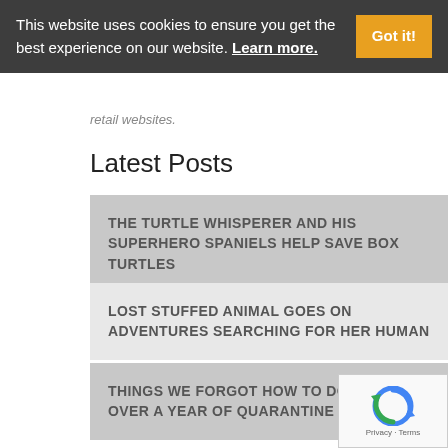This website uses cookies to ensure you get the best experience on our website. Learn more.
retail websites.
Latest Posts
THE TURTLE WHISPERER AND HIS SUPERHERO SPANIELS HELP SAVE BOX TURTLES
LOST STUFFED ANIMAL GOES ON ADVENTURES SEARCHING FOR HER HUMAN
THINGS WE FORGOT HOW TO DO AFTER OVER A YEAR OF QUARANTINE
HOW THE PANDEMIC CHANGED AMERICANS' PERSONALITIES AND INTERESTS
[Figure (logo): reCAPTCHA logo with Privacy and Terms text]